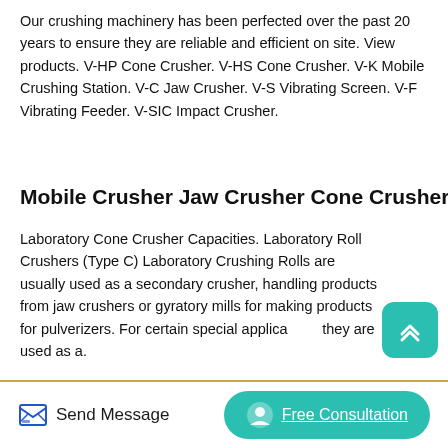Our crushing machinery has been perfected over the past 20 years to ensure they are reliable and efficient on site. View products. V-HP Cone Crusher. V-HS Cone Crusher. V-K Mobile Crushing Station. V-C Jaw Crusher. V-S Vibrating Screen. V-F Vibrating Feeder. V-SIC Impact Crusher.
Mobile Crusher Jaw Crusher Cone Crusher Vertex
Laboratory Cone Crusher Capacities. Laboratory Roll Crushers (Type C) Laboratory Crushing Rolls are usually used as a secondary crusher, handling products from jaw crushers or gyratory mills for making products for pulverizers. For certain special applications they are used as a.
[Figure (photo): Industrial photograph of large crushing machinery inside a factory/warehouse, showing massive flywheels and mechanical components of jaw crushers]
Send Message | Free Consultation